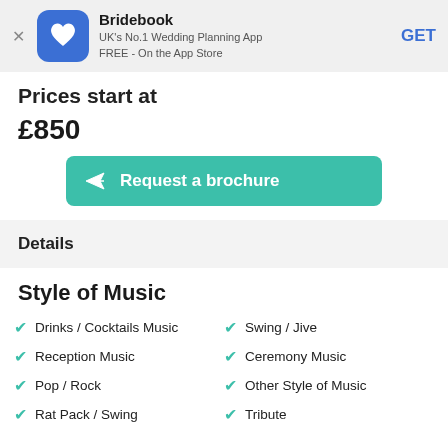[Figure (logo): Bridebook app banner with logo, app name, description and GET button]
Prices start at
£850
[Figure (other): Request a brochure button]
Details
Style of Music
Drinks / Cocktails Music
Swing / Jive
Reception Music
Ceremony Music
Pop / Rock
Other Style of Music
Rat Pack / Swing
Tribute